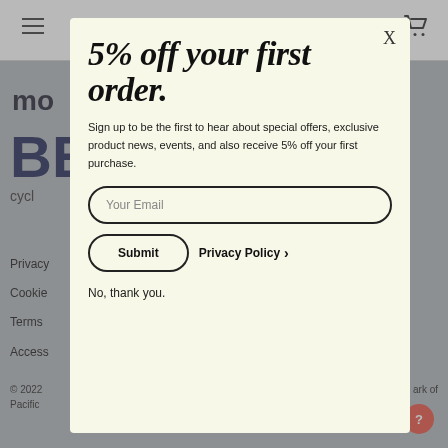[Figure (screenshot): Website background showing navigation bar with hamburger menu and cart icon, partial logo 'mo', large text 'BE' and 'cycl', footer links (Privacy, Cookie, Terms, Access), copyright notice '© 2022 ... ark of Pacific', and red help button]
5% off your first order.
Sign up to be the first to hear about special offers, exclusive product news, events, and also receive 5% off your first purchase.
Your Email
Submit
Privacy Policy
No, thank you.